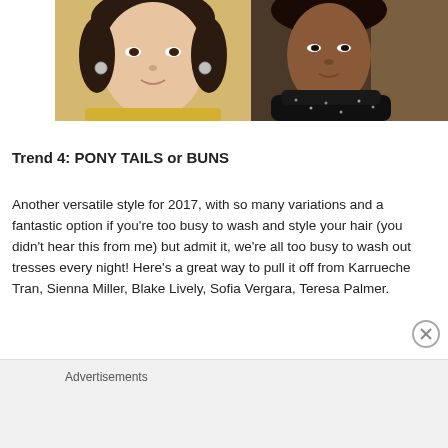[Figure (photo): Two celebrity photos side by side: left shows a young woman with dark hair in an updo wearing a yellow/gold outfit; right shows a woman with dark skin in a black sparkly dress.]
Trend 4: PONY TAILS or BUNS
Another versatile style for 2017, with so many variations and a fantastic option if you’re too busy to wash and style your hair (you didn’t hear this from me) but admit it, we’re all too busy to wash out tresses every night! Here’s a great way to pull it off from Karrueche Tran, Sienna Miller, Blake Lively, Sofia Vergara, Teresa Palmer.
Advertisements